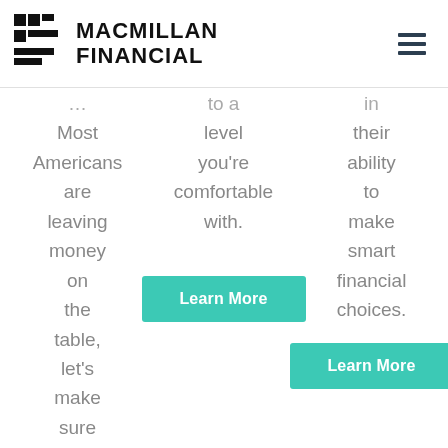MACMILLAN FINANCIAL
Most Americans are leaving money on the table, let's make sure
to a level you're comfortable with.
[Figure (other): Learn More button (teal/turquoise call-to-action button)]
in their ability to make smart financial choices.
[Figure (other): Learn More button (teal/turquoise call-to-action button)]